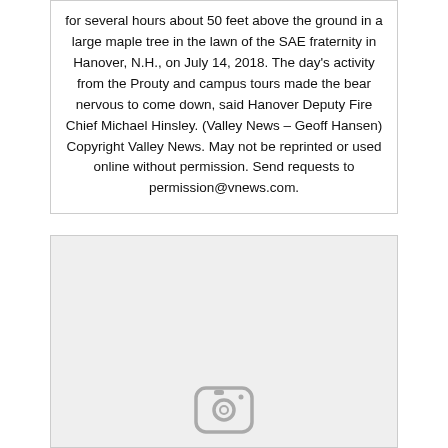for several hours about 50 feet above the ground in a large maple tree in the lawn of the SAE fraternity in Hanover, N.H., on July 14, 2018. The day's activity from the Prouty and campus tours made the bear nervous to come down, said Hanover Deputy Fire Chief Michael Hinsley. (Valley News – Geoff Hansen) Copyright Valley News. May not be reprinted or used online without permission. Send requests to permission@vnews.com.
[Figure (photo): A photo placeholder box with a light gray background and a camera/Instagram icon at the bottom center, indicating an image that could not be loaded.]